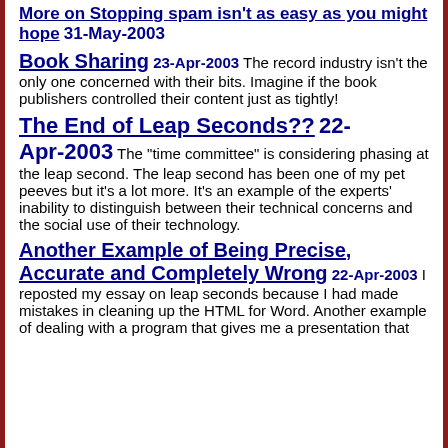More on Stopping spam isn't as easy as you might hope 31-May-2003
Book Sharing 23-Apr-2003 The record industry isn't the only one concerned with their bits. Imagine if the book publishers controlled their content just as tightly!
The End of Leap Seconds?? 22-Apr-2003 The "time committee" is considering phasing at the leap second. The leap second has been one of my pet peeves but it's a lot more. It's an example of the experts' inability to distinguish between their technical concerns and the social use of their technology.
Another Example of Being Precise, Accurate and Completely Wrong 22-Apr-2003 I reposted my essay on leap seconds because I had made mistakes in cleaning up the HTML for Word. Another example of dealing with a program that gives me a presentation that